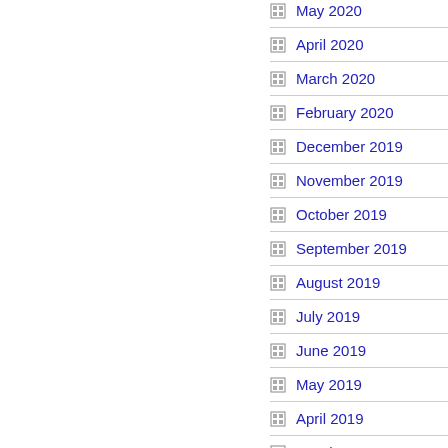May 2020
April 2020
March 2020
February 2020
December 2019
November 2019
October 2019
September 2019
August 2019
July 2019
June 2019
May 2019
April 2019
March 2019
February 2019